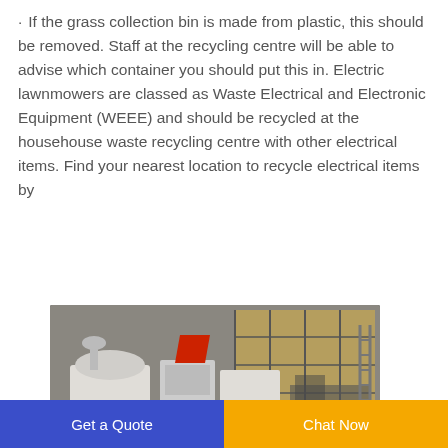If the grass collection bin is made from plastic, this should be removed. Staff at the recycling centre will be able to advise which container you should put this in. Electric lawnmowers are classed as Waste Electrical and Electronic Equipment (WEEE) and should be recycled at the househouse waste recycling centre with other electrical items. Find your nearest location to recycle electrical items by
[Figure (photo): Industrial recycling/processing machine (white and red) inside a warehouse/factory setting with large windows in the background.]
Get a Quote
Chat Now